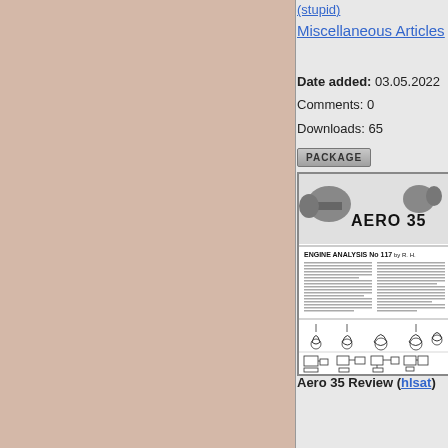(stupid)
Miscellaneous Articles
Date added: 03.05.2022
Comments: 0
Downloads: 65
PACKAGE
[Figure (illustration): Aero 35 Engine Analysis No 117 article cover with engine diagrams and technical drawings]
Aero 35 Review (hlsat)